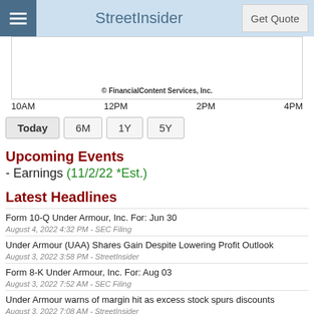StreetInsider
[Figure (continuous-plot): Stock price intraday chart with x-axis labels 10AM, 12PM, 2PM, 4PM and copyright notice '© FinancialContent Services, Inc.']
Upcoming Events
- Earnings (11/2/22 *Est.)
Latest Headlines
Form 10-Q Under Armour, Inc. For: Jun 30
August 4, 2022 4:32 PM - SEC Filing
Under Armour (UAA) Shares Gain Despite Lowering Profit Outlook
August 3, 2022 3:58 PM - StreetInsider
Form 8-K Under Armour, Inc. For: Aug 03
August 3, 2022 7:52 AM - SEC Filing
Under Armour warns of margin hit as excess stock spurs discounts
August 3, 2022 7:08 AM - StreetInsider
Under Armour (UA) Reports In-Line Q2 EPS; Lowers FY EPS Outlook, Maintains Revenue
August 3, 2022 6:57 AM - StreetInsider